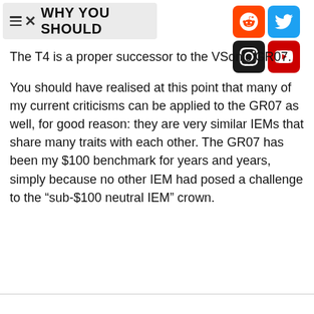WHY YOU SHOULD
The T4 is a proper successor to the VSonic GR07.
You should have realised at this point that many of my current criticisms can be applied to the GR07 as well, for good reason: they are very similar IEMs that share many traits with each other. The GR07 has been my $100 benchmark for years and years, simply because no other IEM had posed a challenge to the “sub-$100 neutral IEM” crown.